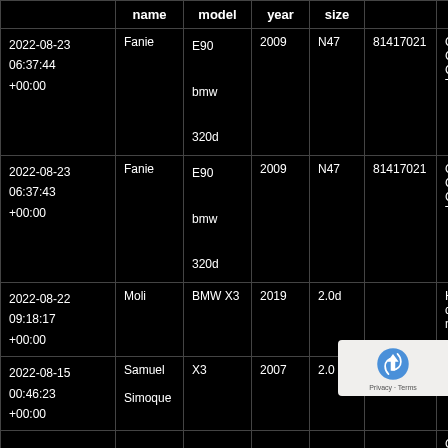|  | name | model | year | size |  |  |
| --- | --- | --- | --- | --- | --- | --- |
| 2022-08-23
06:37:44
+00:00 | Fanie | E90
bmw
320d | 2009 | N47 | 81417021 | Oi
Cra
Co
Top |
| 2022-08-23
06:37:43
+00:00 | Fanie | E90
bmw
320d | 2009 | N47 | 81417021 | Oi
Cra
Co
Top |
| 2022-08-22
09:18:17
+00:00 | Moli | BMW X3 | 2019 | 2.0d |  | Hi,
con
me |
| 2022-08-15
00:46:23
+00:00 | Samuel
Simoque | X3 | 2007 | 2.0 | N47 | He
be |